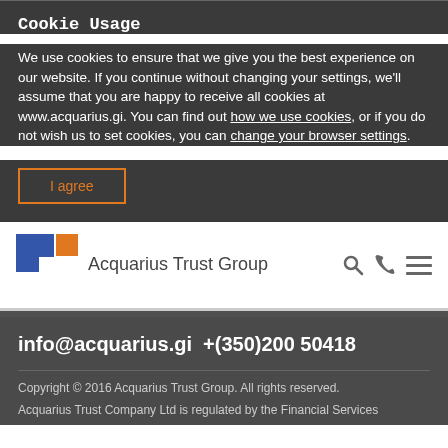Cookie Usage
We use cookies to ensure that we give you the best experience on our website. If you continue without changing your settings, we'll assume that you are happy to receive all cookies at www.acquarius.gi. You can find out how we use cookies, or if you do not wish us to set cookies, you can change your browser settings.
I agree
[Figure (logo): Acquarius Trust Group logo: blue and orange square tiles, with company name 'Acquarius Trust Group' to the right]
info@acquarius.gi  +(350)200 50418
Copyright © 2016 Acquarius Trust Group. All rights reserved.
Acquarius Trust Company Ltd is regulated by the Financial Services